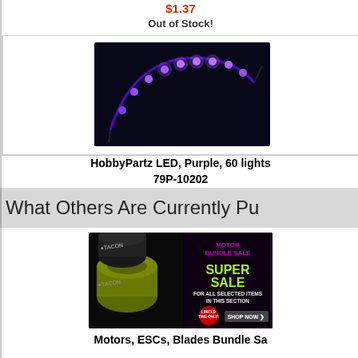$1.37
Out of Stock!
[Figure (photo): Purple LED light strip curved against a dark background, showing multiple bright purple LED lights along the strip]
HobbyPartz LED, Purple, 60 lights
79P-10202
$3.15
What Others Are Currently Pu
[Figure (photo): Advertisement for Tacon Motors showing two motors (green/yellow and black) with text: MOTOR BUNDLE SALE, SUPER SALE, FOR ALL SELECTED ITEMS IN THIS SECTION, LIMITED TIME ONLY, SHOP NOW]
Motors, ESCs, Blades Bundle Sa